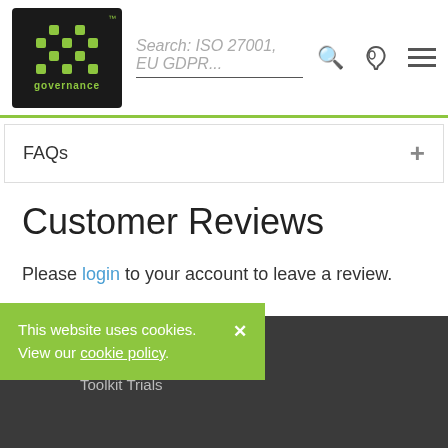IT Governance logo. Search: ISO 27001, EU GDPR...
FAQs
Customer Reviews
Please login to your account to leave a review.
Green Papers
Case Studies
Toolkit Trials
This website uses cookies. View our cookie policy.